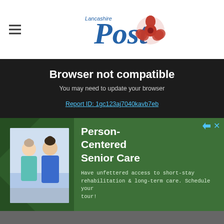Lancashire Post
Browser not compatible
You may need to update your browser
Report ID: 1gc123aj7040kavb7eb
[Figure (infographic): Green advertisement banner for Person-Centered Senior Care showing two elderly women, with text: Person-Centered Senior Care. Have unfettered access to short-stay rehabilitation & long-term care. Schedule your tour!]
[Figure (infographic): Bottom advertisement bar for Lidl in-store shopping with store logo and navigation arrow icon]